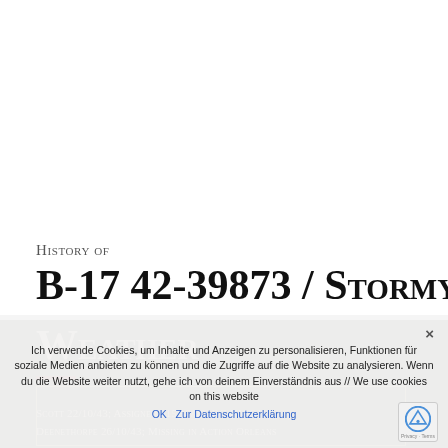History of
B-17 42-39873 / Stormy Weather
Ich verwende Cookies, um Inhalte und Anzeigen zu personalisieren, Funktionen für soziale Medien anbieten zu können und die Zugriffe auf die Website zu analysieren. Wenn du die Website weiter nutzt, gehe ich von deinem Einverständnis aus // We use cookies on this website
OK  Zur Datenschutzerklärung
Scott 22/10/43; Assigned 615BS/401BG [IY-Q]
Deenethorpe 26/10/43; Missing in Action Orleans